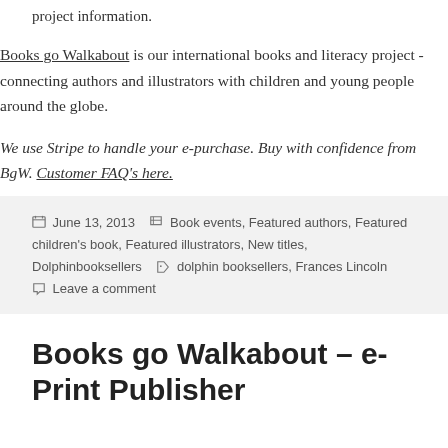project information.
Books go Walkabout is our international books and literacy project - connecting authors and illustrators with children and young people around the globe.
We use Stripe to handle your e-purchase. Buy with confidence from BgW. Customer FAQ's here.
June 13, 2013   Book events, Featured authors, Featured children's book, Featured illustrators, New titles, Dolphinbooksellers   dolphin booksellers, Frances Lincoln   Leave a comment
Books go Walkabout – e-Print Publisher